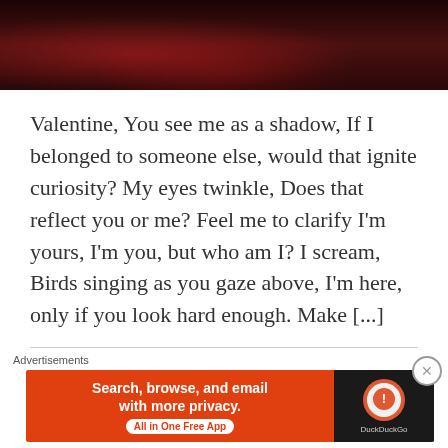[Figure (photo): Dark reddish photo strip showing what appears to be a rose and dark background with red/magenta lighting]
Valentine, You see me as a shadow, If I belonged to someone else, would that ignite curiosity? My eyes twinkle, Does that reflect you or me? Feel me to clarify I’m yours, I’m you, but who am I? I scream, Birds singing as you gaze above, I’m here, only if you look hard enough. Make [...]
Advertisements
[Figure (screenshot): DuckDuckGo advertisement banner: orange/red background with text 'Search, browse, and email with more privacy. All in One Free App' and DuckDuckGo logo on dark background]